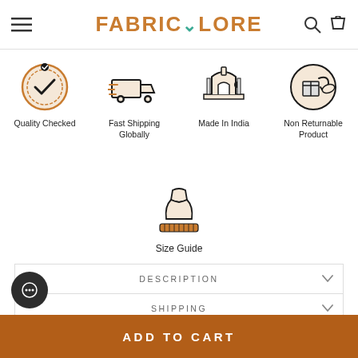FABRICLORE
[Figure (infographic): Four feature icons: Quality Checked (badge with checkmark), Fast Shipping Globally (delivery truck), Made In India (monument/arch), Non Returnable Product (box with return arrow)]
[Figure (illustration): Size Guide icon showing a dress form with measuring tape]
Quality Checked
Fast Shipping Globally
Made In India
Non Returnable Product
Size Guide
DESCRIPTION
SHIPPING
RETURN & EXCHANGE POLICY
ADD TO CART